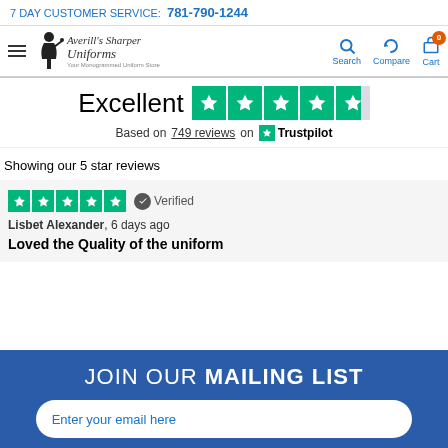7 DAY CUSTOMER SERVICE: 781-790-1244
[Figure (logo): Averill's Sharper Uniforms logo with figure pointing, tagline 'Your Monogrammed Uniform Store']
Excellent — Based on 749 reviews on Trustpilot
Showing our 5 star reviews
Verified
Lisbet Alexander, 6 days ago
Loved the Quality of the uniform
JOIN OUR MAILING LIST
Enter your email here